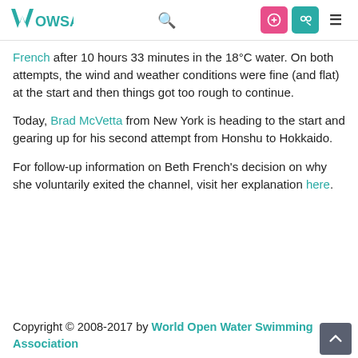WOWSA [logo with search, login, and menu icons]
French after 10 hours 33 minutes in the 18°C water. On both attempts, the wind and weather conditions were fine (and flat) at the start and then things got too rough to continue.
Today, Brad McVetta from New York is heading to the start and gearing up for his second attempt from Honshu to Hokkaido.
For follow-up information on Beth French's decision on why she voluntarily exited the channel, visit her explanation here.
Copyright © 2008-2017 by World Open Water Swimming Association